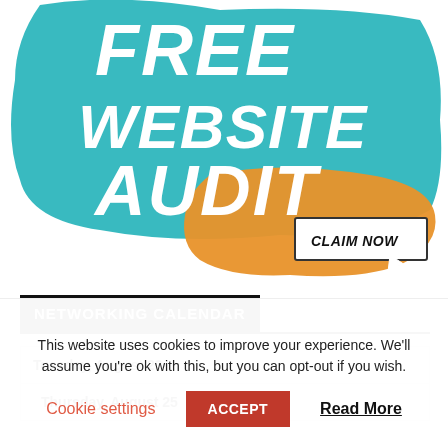[Figure (illustration): Teal brush-stroke background with bold italic white text 'FREE WEBSITE AUDIT' and an orange brush-stroke with a white 'CLAIM NOW' button and cursor icon]
NETWORKING CALENDAR
| Tuesday, August 23 |
| Thursday, August 25 |
This website uses cookies to improve your experience. We'll assume you're ok with this, but you can opt-out if you wish.
Cookie settings   ACCEPT   Read More